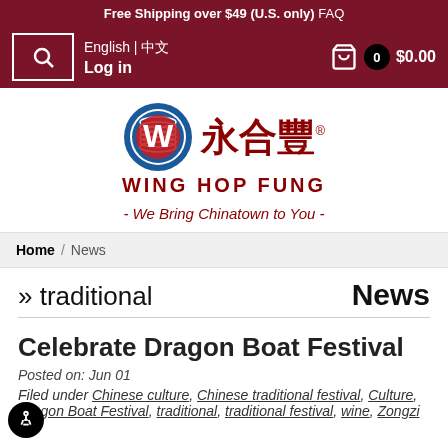Free Shipping over $49 (U.S. only) FAQ
[Figure (logo): Wing Hop Fung logo with W circle emblem, Chinese characters 永合豐, and text WING HOP FUNG]
- We Bring Chinatown to You -
Home / News
» traditional
News
Celebrate Dragon Boat Festival
Posted on: Jun 01
Filed under Chinese culture, Chinese traditional festival, Culture, Dragon Boat Festival, traditional, traditional festival, wine, Zongzi